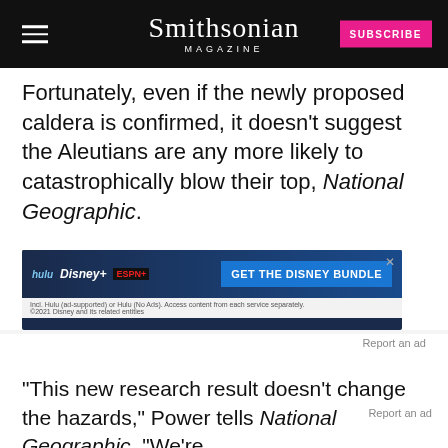Smithsonian MAGAZINE
Fortunately, even if the newly proposed caldera is confirmed, it doesn't suggest the Aleutians are any more likely to catastrophically blow their top, National Geographic.
[Figure (other): Disney Bundle advertisement banner with Hulu, Disney+, ESPN+ logos and 'GET THE DISNEY BUNDLE' call to action]
Report an ad
“This new research result doesn’t change the hazards,” Power tells National Geographic. “We’re not forecasting something dangerous here.
Report an ad
SUBSCRIBE SMITHSONIAN MAGAZINE
Ad | An AMG Site